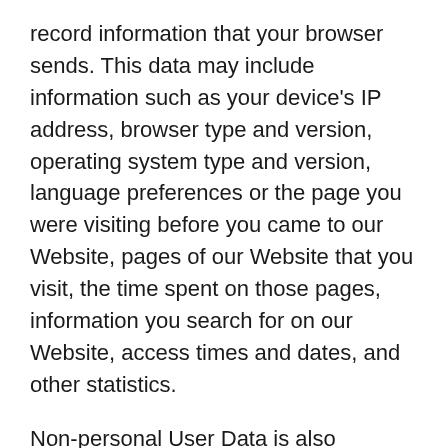record information that your browser sends. This data may include information such as your device's IP address, browser type and version, operating system type and version, language preferences or the page you were visiting before you came to our Website, pages of our Website that you visit, the time spent on those pages, information you search for on our Website, access times and dates, and other statistics.
Non-personal User Data is also collected for advertising and analytics purposes.
ADVERTISING
This type of service allows User Data to be utilized for advertising communication purposes. These communications are displayed in the form of banners and other advertisements on this Website, possibly